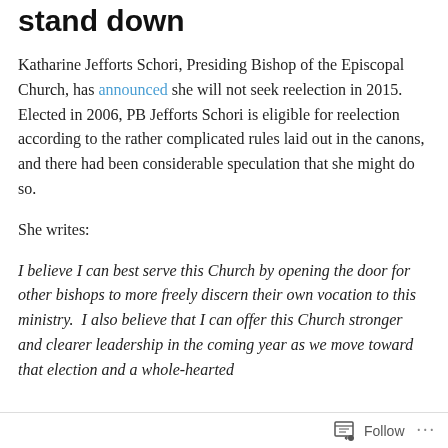stand down
Katharine Jefforts Schori, Presiding Bishop of the Episcopal Church, has announced she will not seek reelection in 2015. Elected in 2006, PB Jefforts Schori is eligible for reelection according to the rather complicated rules laid out in the canons, and there had been considerable speculation that she might do so.
She writes:
I believe I can best serve this Church by opening the door for other bishops to more freely discern their own vocation to this ministry.  I also believe that I can offer this Church stronger and clearer leadership in the coming year as we move toward that election and a whole-hearted
Follow